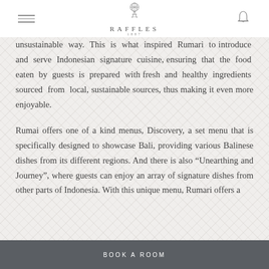RAFFLES
unsustainable way. This is what inspired Rumari to introduce and serve Indonesian signature cuisine, ensuring that the food eaten by guests is prepared with fresh and healthy ingredients sourced from local, sustainable sources, thus making it even more enjoyable.
Rumai offers one of a kind menus, Discovery, a set menu that is specifically designed to showcase Bali, providing various Balinese dishes from its different regions. And there is also “Unearthing and Journey”, where guests can enjoy an array of signature dishes from other parts of Indonesia. With this unique menu, Rumari offers a
BOOK A ROOM